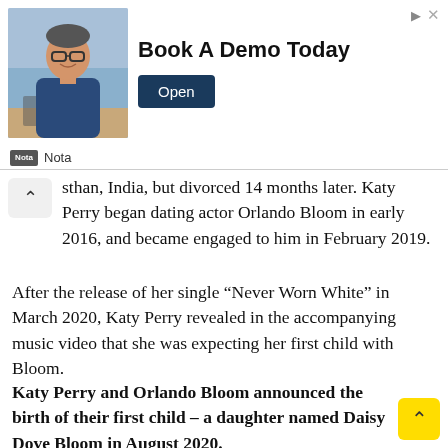[Figure (screenshot): Advertisement banner: photo of man in glasses, text 'Book A Demo Today', 'Open' button, sponsored by Nota]
sthan, India, but divorced 14 months later. Katy Perry began dating actor Orlando Bloom in early 2016, and became engaged to him in February 2019.
After the release of her single “Never Worn White” in March 2020, Katy Perry revealed in the accompanying music video that she was expecting her first child with Bloom.
Katy Perry and Orlando Bloom announced the birth of their first child – a daughter named Daisy Dove Bloom in August 2020.